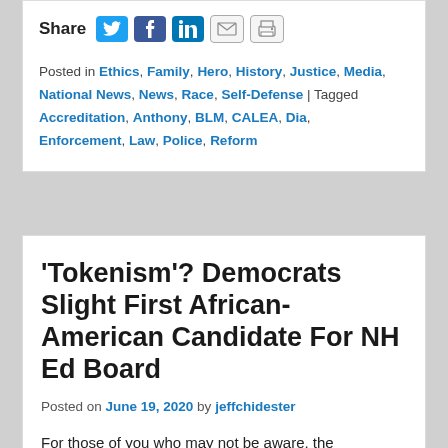[Figure (other): Social media share icons row: Twitter (blue bird), Facebook (blue f), LinkedIn (blue in), Email (envelope), Print (printer). Preceded by bold 'Share' label.]
Posted in Ethics, Family, Hero, History, Justice, Media, National News, News, Race, Self-Defense | Tagged Accreditation, Anthony, BLM, CALEA, Dia, Enforcement, Law, Police, Reform
'Tokenism'? Democrats Slight First African-American Candidate For NH Ed Board
Posted on June 19, 2020 by jeffchidester
For those of you who may not be aware, the